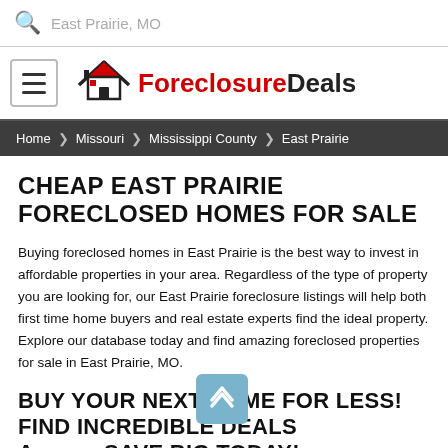East Prairie, MO
[Figure (logo): ForeclosureDeals logo with house icon, hamburger menu button on left]
Home > Missouri > Mississippi County > East Prairie
CHEAP EAST PRAIRIE FORECLOSED HOMES FOR SALE
Buying foreclosed homes in East Prairie is the best way to invest in affordable properties in your area. Regardless of the type of property you are looking for, our East Prairie foreclosure listings will help both first time home buyers and real estate experts find the ideal property. Explore our database today and find amazing foreclosed properties for sale in East Prairie, MO.
BUY YOUR NEXT HOME FOR LESS! FIND INCREDIBLE DEALS AND SAVE BIG TODAY!